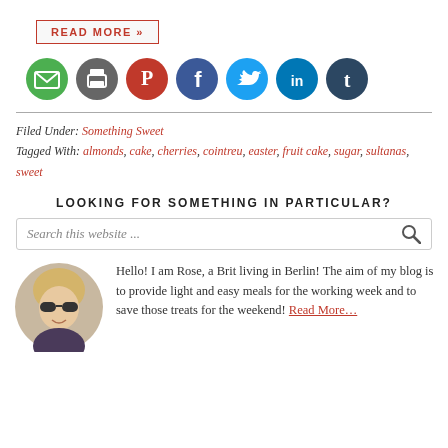READ MORE »
[Figure (infographic): Row of 7 social media icon circles: email (green), print (dark gray), Pinterest (red), Facebook (dark blue), Twitter (light blue), LinkedIn (teal), Tumblr (dark navy)]
Filed Under: Something Sweet
Tagged With: almonds, cake, cherries, cointreu, easter, fruit cake, sugar, sultanas, sweet
LOOKING FOR SOMETHING IN PARTICULAR?
Search this website ...
[Figure (photo): Circular photo of a woman with blonde hair and sunglasses, smiling]
Hello! I am Rose, a Brit living in Berlin! The aim of my blog is to provide light and easy meals for the working week and to save those treats for the weekend! Read More…